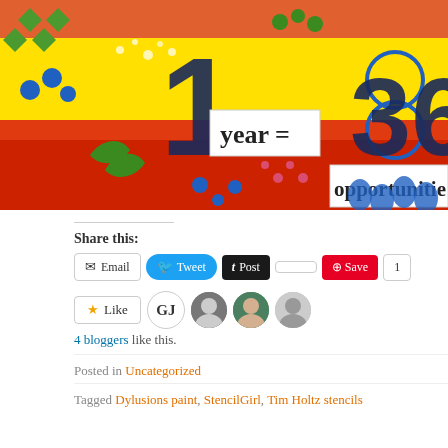[Figure (photo): Colorful art journal spread with stenciled patterns. Bright yellow, orange, and red background with green, blue, and white decorative elements. Large dark navy numbers '1' and '365' with text boxes reading 'year =' and 'opportunities']
Share this:
Email | Tweet | Post | Save | 1
Like | GJ | [avatars] | 4 bloggers like this.
Posted in Uncategorized
Tagged Dylusions paint, StencilGirl, Tim Holtz stencils